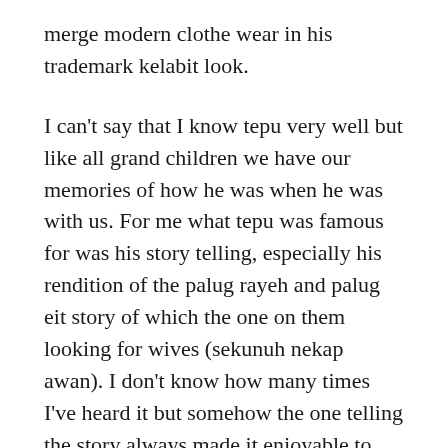merge modern clothe wear in his trademark kelabit look.
I can't say that I know tepu very well but like all grand children we have our memories of how he was when he was with us. For me what tepu was famous for was his story telling, especially his rendition of the palug rayeh and palug eit story of which the one on them looking for wives (sekunuh nekap awan). I don't know how many times I've heard it but somehow the one telling the story always made it enjoyable to hear.
One of my aunties recounted the time when tepu was in hospital a few months back and